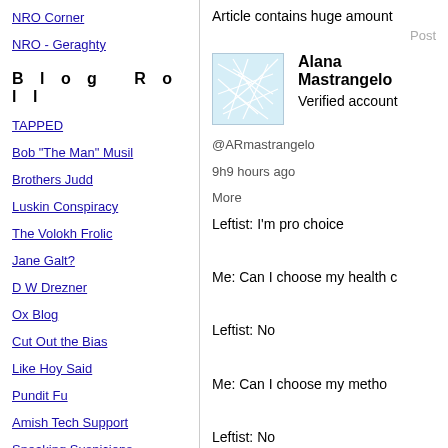NRO Corner
NRO - Geraghty
Blog Roll
TAPPED
Bob "The Man" Musil
Brothers Judd
Luskin Conspiracy
The Volokh Frolic
Jane Galt?
D W Drezner
Ox Blog
Cut Out the Bias
Like Hoy Said
Pundit Fu
Amish Tech Support
Sneaking Suspicions
Daily Colby Cosh
Article contains huge amount
Post
[Figure (illustration): Profile avatar image with abstract light blue network/lines pattern on white background]
Alana Mastrangelo
Verified account
@ARmastrangelo
9h9 hours ago
More
Leftist: I'm pro choice

Me: Can I choose my health c

Leftist: No

Me: Can I choose my metho

Leftist: No

Me: Can I choose how my me

Leftist: No

Me: Then what can I choose?